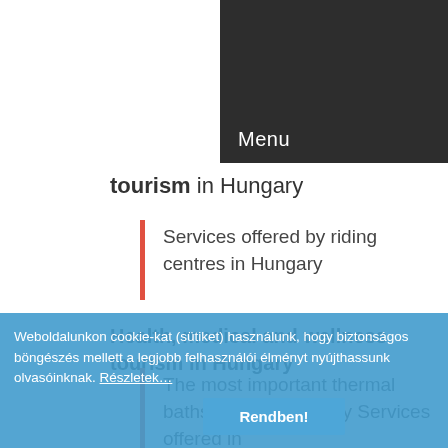[Figure (screenshot): Dark navigation bar with Menu text and hamburger icon]
tourism in Hungary
Services offered by riding centres in Hungary
Health, medical and wellness tourism in Hungary
The most important thermal baths/spas in Hungary Services offered in
Weboldalunkon cookie-kat (sütiket) használunk, hogy biztonságos böngészés mellett a legjobb felhasználói élményt nyújthassunk olvasóinknak. Részletek…
Rendben!